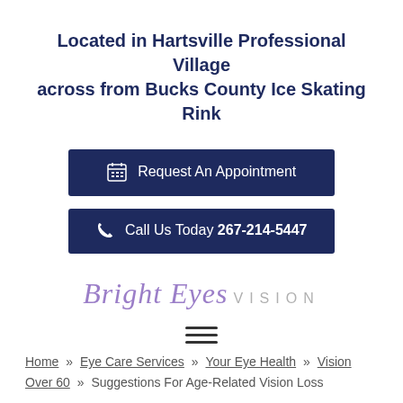Located in Hartsville Professional Village across from Bucks County Ice Skating Rink
[Figure (other): Dark navy button with calendar icon: 'Request An Appointment']
[Figure (other): Dark navy button with phone icon: 'Call Us Today 267-214-5447']
[Figure (logo): Bright Eyes VISION logo — cursive 'Bright Eyes' in purple/mauve and 'VISION' in light gray spaced caps]
[Figure (other): Hamburger menu icon (three horizontal lines)]
Home » Eye Care Services » Your Eye Health » Vision Over 60 » Suggestions For Age-Related Vision Loss